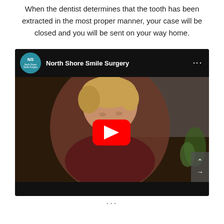When the dentist determines that the tooth has been extracted in the most proper manner, your case will be closed and you will be sent on your way home.
[Figure (screenshot): YouTube video embed for North Shore Smile Surgery showing a smiling woman with short blonde hair and a YouTube play button overlay.]
...